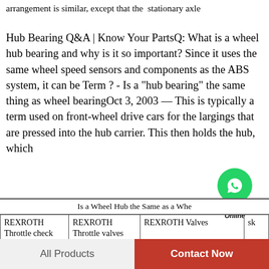arrangement is similar, except that the  stationary axle
Hub Bearing Q&A | Know Your PartsQ: What is a wheel hub bearing and why is it so important? Since it uses the same wheel speed sensors and components as the ABS system, it can be Term ? - Is a "hub bearing" the same thing as wheel bearingOct 3, 2003 — This is typically a term used on front-wheel drive cars for the larg ings that are pressed into the hub carrier. This then holds the hub, which
[Figure (logo): WhatsApp Online badge with green circle and phone icon]
|  | Is a Wheel Hub the Same as a Whe |
| --- | --- |
| REXROTH Throttle check valves | REXROTH Throttle valves | REXROTH Valves | sk |
All Products
Contact Now